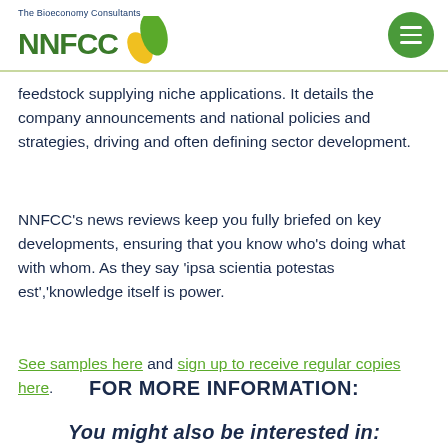The Bioeconomy Consultants NNFCC [logo]
feedstock supplying niche applications. It details the company announcements and national policies and strategies, driving and often defining sector development.
NNFCC's news reviews keep you fully briefed on key developments, ensuring that you know who's doing what with whom. As they say 'ipsa scientia potestas est','knowledge itself is power.
See samples here and sign up to receive regular copies here.
FOR MORE INFORMATION:
You might also be interested in: